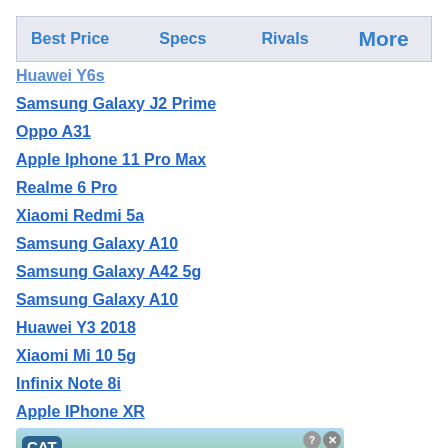Best Price  Specs  Rivals  More
Huawei Y6s
Samsung Galaxy J2 Prime
Oppo A31
Apple Iphone 11 Pro Max
Realme 6 Pro
Xiaomi Redmi 5a
Samsung Galaxy A10
Samsung Galaxy A42 5g
Samsung Galaxy A10
Huawei Y3 2018
Xiaomi Mi 10 5g
Infinix Note 8i
Apple IPhone XR
[Figure (illustration): Cat Game advertisement banner with cartoon cat characters and a Play Now button]